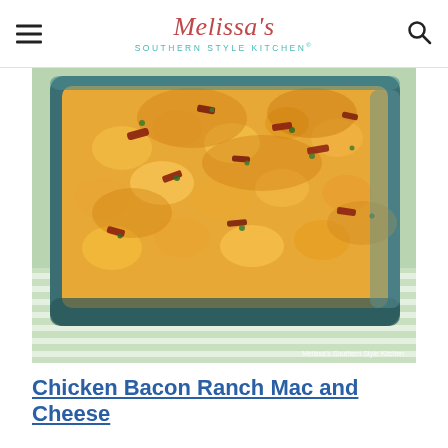Melissa's Southern Style Kitchen®
[Figure (photo): A baked macaroni and cheese casserole with bacon pieces and green onions in a dark teal baking dish, placed on a green and white striped cloth. The top is golden-brown and bubbly. Watermark reads: Melissa's Southern Style Kitchen]
Chicken Bacon Ranch Mac and Cheese